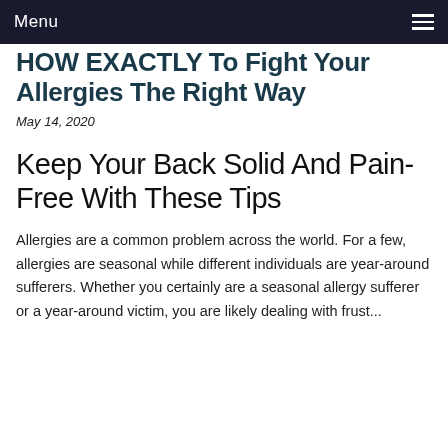Menu
HOW EXACTLY To Fight Your Allergies The Right Way
May 14, 2020
Keep Your Back Solid And Pain-Free With These Tips
Allergies are a common problem across the world. For a few, allergies are seasonal while different individuals are year-around sufferers. Whether you certainly are a seasonal allergy sufferer or a year-around victim, you are likely dealing with frust...